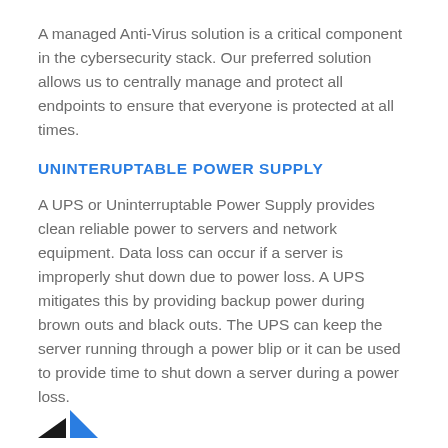A managed Anti-Virus solution is a critical component in the cybersecurity stack. Our preferred solution allows us to centrally manage and protect all endpoints to ensure that everyone is protected at all times.
UNINTERUPTABLE POWER SUPPLY
A UPS or Uninterruptable Power Supply provides clean reliable power to servers and network equipment. Data loss can occur if a server is improperly shut down due to power loss. A UPS mitigates this by providing backup power during brown outs and black outs. The UPS can keep the server running through a power blip or it can be used to provide time to shut down a server during a power loss.
[Figure (logo): Partial logo visible at bottom of page — dark triangular arrow shapes]